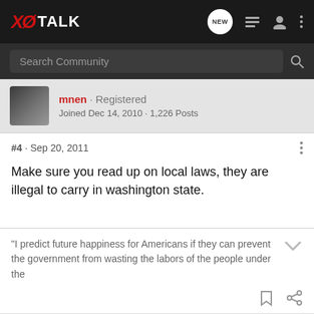XO TALK — Search Community nav bar
Joined Dec 14, 2010 · 1,226 Posts
#4 · Sep 20, 2011
Make sure you read up on local laws, they are illegal to carry in washington state.
"I predict future happiness for Americans if they can prevent the government from wasting the labors of the people under the